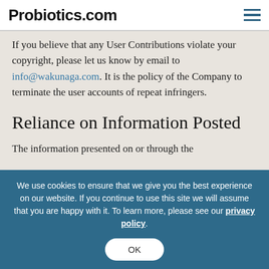Probiotics.com
If you believe that any User Contributions violate your copyright, please let us know by email to info@wakunaga.com. It is the policy of the Company to terminate the user accounts of repeat infringers.
Reliance on Information Posted
The information presented on or through the
We use cookies to ensure that we give you the best experience on our website. If you continue to use this site we will assume that you are happy with it. To learn more, please see our privacy policy.
OK